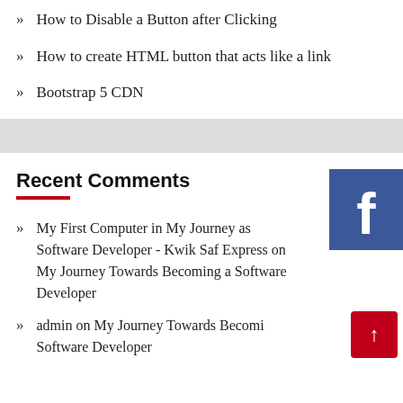How to Disable a Button after Clicking
How to create HTML button that acts like a link
Bootstrap 5 CDN
Recent Comments
My First Computer in My Journey as Software Developer - Kwik Saf Express on My Journey Towards Becoming a Software Developer
admin on My Journey Towards Becoming a Software Developer